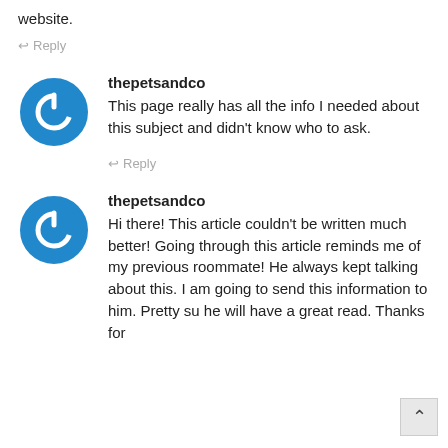website.
↩ Reply
thepetsandco
This page really has all the info I needed about this subject and didn't know who to ask.
↩ Reply
thepetsandco
Hi there! This article couldn't be written much better! Going through this article reminds me of my previous roommate! He always kept talking about this. I am going to send this information to him. Pretty su he will have a great read. Thanks for